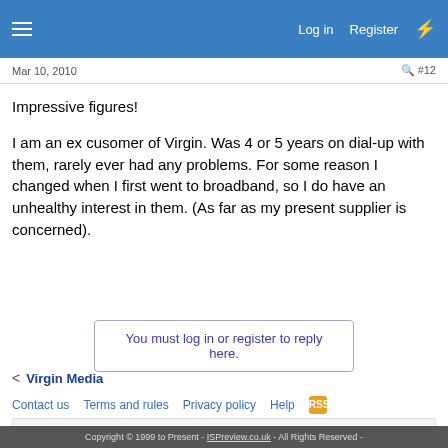Log in  Register
Mar 10, 2010  #12
Impressive figures!
I am an ex cusomer of Virgin. Was 4 or 5 years on dial-up with them, rarely ever had any problems. For some reason I changed when I first went to broadband, so I do have an unhealthy interest in them. (As far as my present supplier is concerned).
You must log in or register to reply here.
< Virgin Media
Contact us  Terms and rules  Privacy policy  Help
Sponsored
Copyright © 1999 to Present - ISPreview.co.uk - All Rights Reserved -